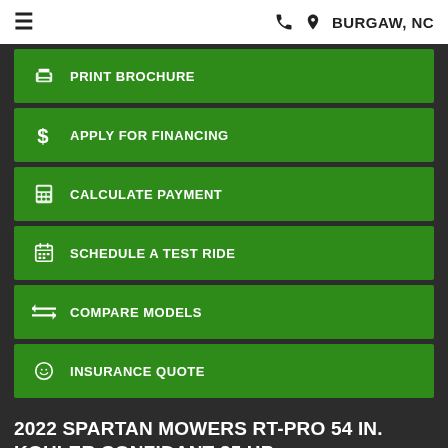≡  📞 📍 BURGAW, NC
PRINT BROCHURE
APPLY FOR FINANCING
CALCULATE PAYMENT
SCHEDULE A TEST RIDE
COMPARE MODELS
INSURANCE QUOTE
2022 SPARTAN MOWERS RT-PRO 54 IN. KOHLER CONFIDANT 25 HP
Share: